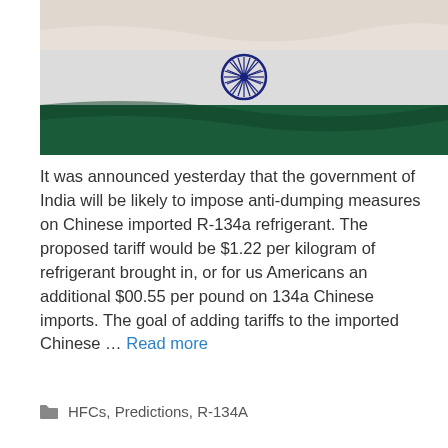[Figure (photo): Indian national flag showing saffron/white/green stripes with navy blue Ashoka Chakra wheel in the center, photographed waving.]
It was announced yesterday that the government of India will be likely to impose anti-dumping measures on Chinese imported R-134a refrigerant. The proposed tariff would be $1.22 per kilogram of refrigerant brought in, or for us Americans an additional $00.55 per pound on 134a Chinese imports. The goal of adding tariffs to the imported Chinese ... Read more
HFCs, Predictions, R-134A